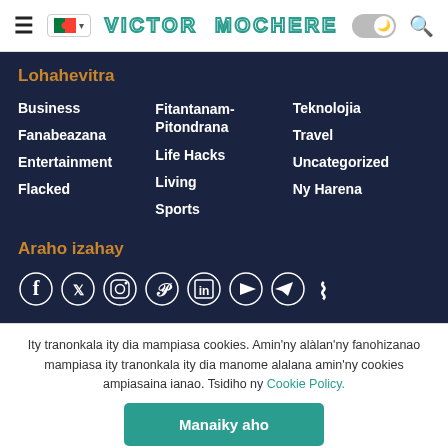VICTOR MOCHERE
Lohahevitra
Business
Fanabeazana
Entertainment
Flacked
Fitantanam-Pitondrana
Life Hacks
Living
Sports
Teknolojia
Travel
Uncategorized
Ny Harena
Araho izahay
[Figure (infographic): Social media icons: Facebook, Twitter, Instagram, Pinterest, LinkedIn, YouTube, Telegram, RSS]
Ity tranonkala ity dia mampiasa cookies. Amin'ny alàlan'ny fanohizanao mampiasa ity tranonkala ity dia manome alalana amin'ny cookies ampiasaina ianao. Tsidiho ny Cookie Policy.
Manaiky aho